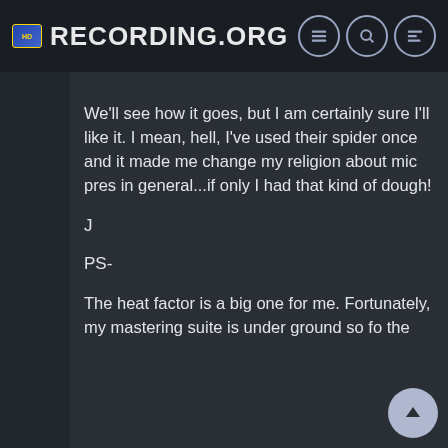RECORDING.ORG
We'll see how it goes, but I am certainly sure I'll like it. I mean, hell, I've used their spider once and it made me change my religion about mic pres in general...if only I had that kind of dough!
J
PS-
The heat factor is a big one for me. Fortunately, my mastering suite is under ground so fo the